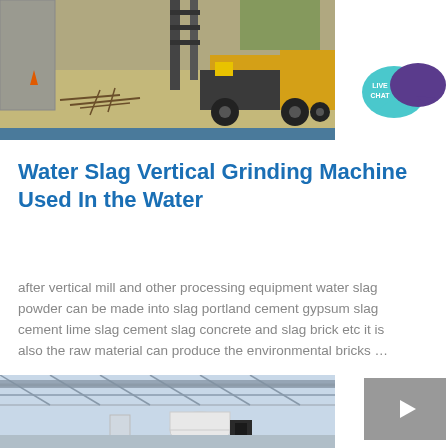[Figure (photo): Construction site photo showing a flatbed truck, yellow construction equipment, debris on ground, and a concrete wall structure in the background.]
[Figure (logo): Live Chat button icon with teal speech bubble and purple speech bubble with text LIVE CHAT.]
Water Slag Vertical Grinding Machine Used In the Water
after vertical mill and other processing equipment water slag powder can be made into slag portland cement gypsum slag cement lime slag cement slag concrete and slag brick etc it is also the raw material can produce the environmental bricks …
[Figure (photo): Interior of an industrial factory or facility with white pipe equipment, crane overhead, and metal roof structure.]
[Figure (other): Small gray navigation button with a right-pointing arrow icon.]